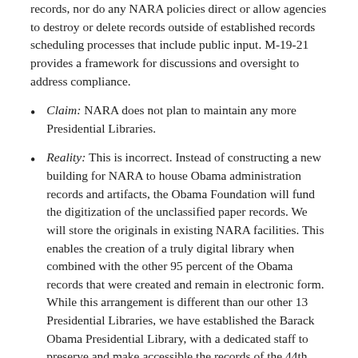records, nor do any NARA policies direct or allow agencies to destroy or delete records outside of established records scheduling processes that include public input. M-19-21 provides a framework for discussions and oversight to address compliance.
Claim: NARA does not plan to maintain any more Presidential Libraries.
Reality: This is incorrect. Instead of constructing a new building for NARA to house Obama administration records and artifacts, the Obama Foundation will fund the digitization of the unclassified paper records. We will store the originals in existing NARA facilities. This enables the creation of a truly digital library when combined with the other 95 percent of the Obama records that were created and remain in electronic form. While this arrangement is different than our other 13 Presidential Libraries, we have established the Barack Obama Presidential Library, with a dedicated staff to preserve and make accessible the records of the 44th President.
Taken together, the errors and inaccuracies circulating in the news media paint a wholly misleading picture of the state of